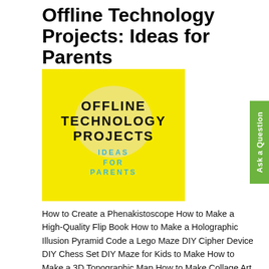Offline Technology Projects: Ideas for Parents
[Figure (illustration): Book cover with yellow background, large circle watermark, bold black uppercase text 'OFFLINE TECHNOLOGY PROJECTS' and cyan/blue text 'IDEAS FOR PARENTS']
How to Create a Phenakistoscope How to Make a High-Quality Flip Book How to Make a Holographic Illusion Pyramid Code a Lego Maze DIY Cipher Device DIY Chess Set DIY Maze for Kids to Make How to Make a 3D Topographic Map How to Make Collage Art Using Magazine Clippings Ultimate Beginner's Perler Bead